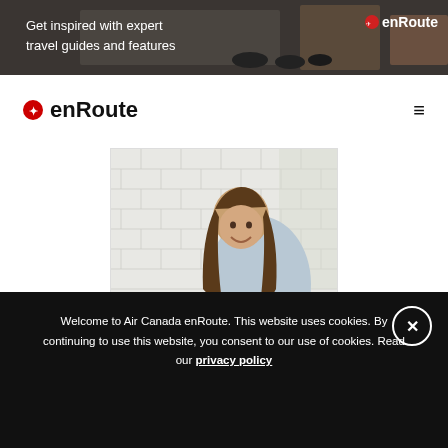[Figure (screenshot): Banner ad with dark background showing street scene with motorcycles. Text reads: 'Get inspired with expert travel guides and features' with enRoute logo top right.]
enRoute (Air Canada enRoute navigation bar with hamburger menu)
[Figure (photo): Woman with long brown hair smiling and cooking pasta in a wok on a gas stove in a kitchen with white subway tile backsplash, wearing a light blue sweater and jeans.]
Welcome to Air Canada enRoute. This website uses cookies. By continuing to use this website, you consent to our use of cookies. Read our privacy policy